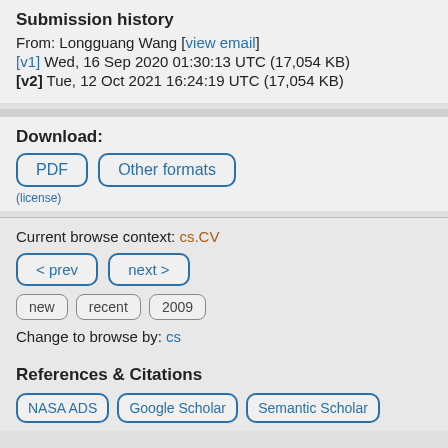Submission history
From: Longguang Wang [view email]
[v1] Wed, 16 Sep 2020 01:30:13 UTC (17,054 KB)
[v2] Tue, 12 Oct 2021 16:24:19 UTC (17,054 KB)
Download:
PDF   Other formats
(license)
Current browse context: cs.CV
< prev   next >
new   recent   2009
Change to browse by: cs
References & Citations
NASA ADS   Google Scholar   Semantic Scholar